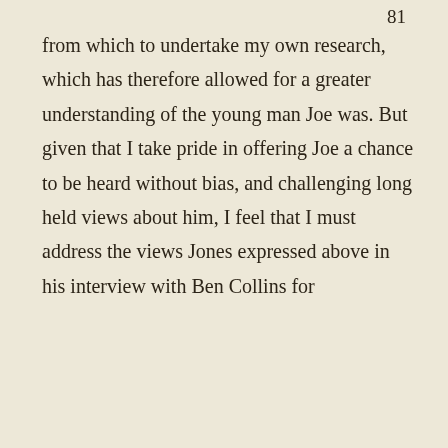81
from which to undertake my own research, which has therefore allowed for a greater understanding of the young man Joe was. But given that I take pride in offering Joe a chance to be heard without bias, and challenging long held views about him, I feel that I must address the views Jones expressed above in his interview with Ben Collins for